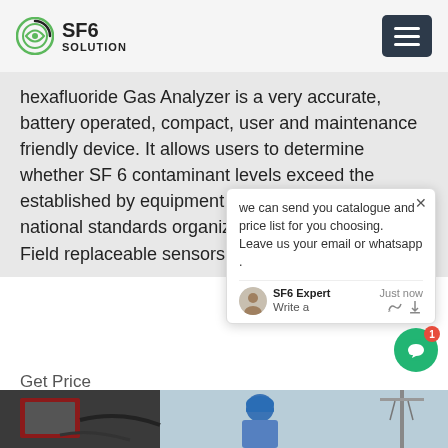SF6 SOLUTION
hexafluoride Gas Analyzer is a very accurate, battery operated, compact, user and maintenance friendly device. It allows users to determine whether SF 6 contaminant levels exceed the established by equipment manufacturers or national standards organizations. K… Field replaceable sensors
Get Price
[Figure (photo): A technician in a blue hard hat and blue work uniform operating SF6 gas handling equipment outdoors. Red and dark-coloured equipment modules and cables visible. Power line infrastructure in background.]